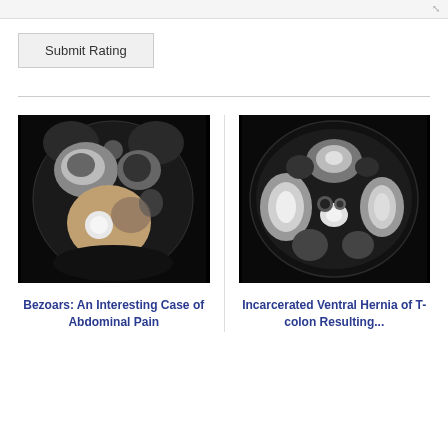[Figure (screenshot): Top navigation bar with resize/expand icon in top right corner]
Submit Rating
[Figure (photo): CT scan image (coronal view) showing abdominal anatomy with a bezoar — bright circular mass visible in the stomach region against dark background]
Bezoars: An Interesting Case of Abdominal Pain
[Figure (photo): CT scan image (axial/transverse view) showing abdominal cross-section with incarcerated ventral hernia of transverse colon — kidney-shaped organs and bowel loops visible]
Incarcerated Ventral Hernia of T-colon Resulting...